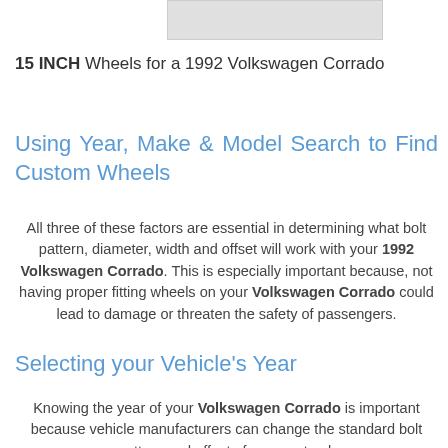[Figure (other): Gray placeholder image/banner at top of page]
15 INCH Wheels for a 1992 Volkswagen Corrado
Using Year, Make & Model Search to Find Custom Wheels
All three of these factors are essential in determining what bolt pattern, diameter, width and offset will work with your 1992 Volkswagen Corrado. This is especially important because, not having proper fitting wheels on your Volkswagen Corrado could lead to damage or threaten the safety of passengers.
Selecting your Vehicle's Year
Knowing the year of your Volkswagen Corrado is important because vehicle manufacturers can change the standard bolt pattern and offset of a car or truck